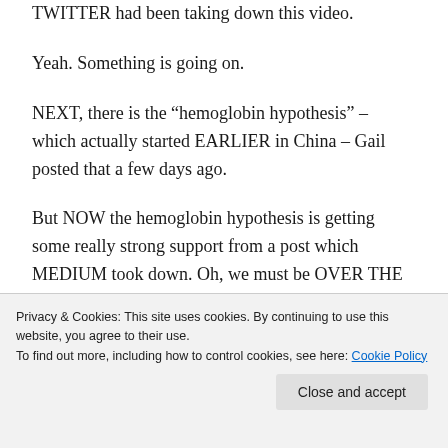TWITTER had been taking down this video.
Yeah. Something is going on.
NEXT, there is the “hemoglobin hypothesis” – which actually started EARLIER in China – Gail posted that a few days ago.
But NOW the hemoglobin hypothesis is getting some really strong support from a post which MEDIUM took down. Oh, we must be OVER THE TARGET.
I will now provide links to COPIES of the hypothesis.
Privacy & Cookies: This site uses cookies. By continuing to use this website, you agree to their use.
To find out more, including how to control cookies, see here: Cookie Policy
Close and accept